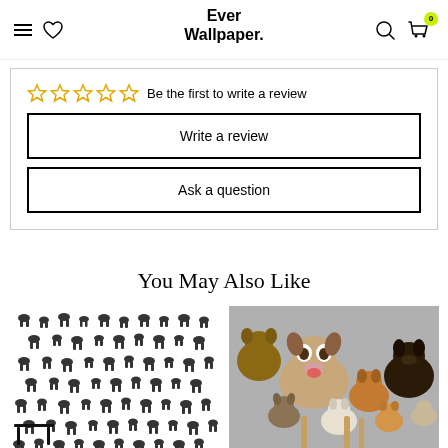Ever Wallpaper.
Be the first to write a review
Write a review
Ask a question
You May Also Like
[Figure (photo): Black and white wallpaper with dog silhouettes pattern, shown on a room wall]
[Figure (photo): Photo collage of many dogs of various breeds looking at camera on gray background]